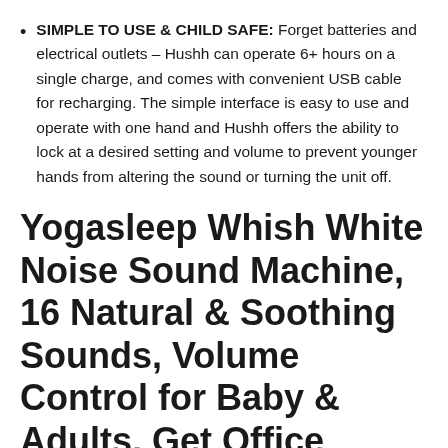SIMPLE TO USE & CHILD SAFE: Forget batteries and electrical outlets – Hushh can operate 6+ hours on a single charge, and comes with convenient USB cable for recharging. The simple interface is easy to use and operate with one hand and Hushh offers the ability to lock at a desired setting and volume to prevent younger hands from altering the sound or turning the unit off.
Yogasleep Whish White Noise Sound Machine, 16 Natural & Soothing Sounds, Volume Control for Baby & Adults, Get Office Privacy, Concentration, Sleep Aid, Compact for Easy Travel,